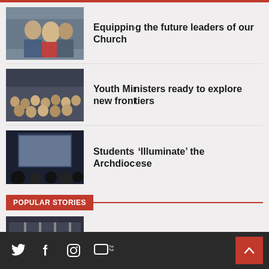[Figure (photo): Group photo of young people in a casual setting]
Equipping the future leaders of our Church
[Figure (photo): Large group photo of youth ministers]
Youth Ministers ready to explore new frontiers
[Figure (photo): Audience watching a presentation on stage with screen]
Students ‘Illuminate’ the Archdiocese
POPULAR STORIES
[Figure (photo): Crowd of people at an event or turnstiles]
Turnstiles
Social icons: Twitter, Facebook, Instagram, YouTube | Back to top button